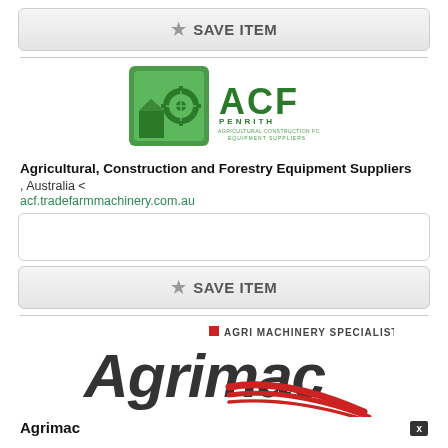[Figure (logo): SAVE ITEM button with star icon at top]
SAVE ITEM
[Figure (logo): ACF Penrith Agricultural Construction Forestry Equipment Suppliers logo - green square logo with gear and house icon, ACF text]
Agricultural, Construction and Forestry Equipment Suppliers
, Australia <
acf.tradefarmmachinery.com.au
SAVE ITEM
[Figure (logo): Agrimac - Agri Machinery Specialists logo - large dark grey italic text with red swoosh graphic]
Agrimac